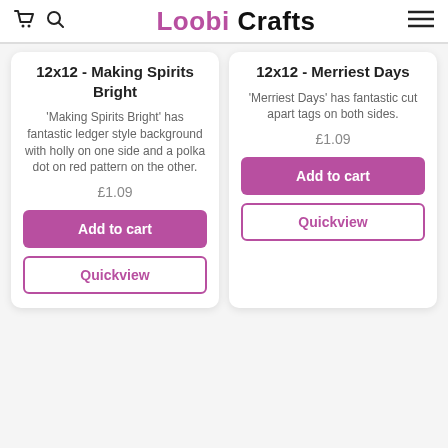Loobi Crafts
12x12 - Making Spirits Bright
'Making Spirits Bright' has fantastic ledger style background with holly on one side and a polka dot on red pattern on the other.
£1.09
12x12 - Merriest Days
'Merriest Days' has fantastic cut apart tags on both sides.
£1.09